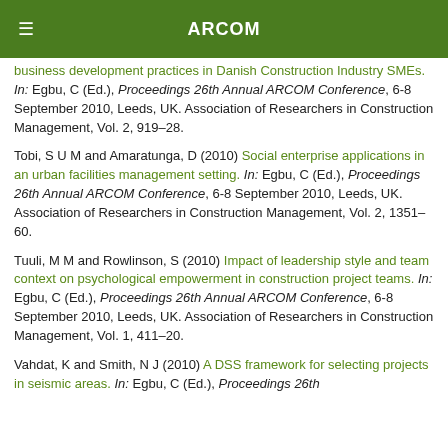ARCOM
business development practices in Danish Construction Industry SMEs. In: Egbu, C (Ed.), Proceedings 26th Annual ARCOM Conference, 6-8 September 2010, Leeds, UK. Association of Researchers in Construction Management, Vol. 2, 919–28.
Tobi, S U M and Amaratunga, D (2010) Social enterprise applications in an urban facilities management setting. In: Egbu, C (Ed.), Proceedings 26th Annual ARCOM Conference, 6-8 September 2010, Leeds, UK. Association of Researchers in Construction Management, Vol. 2, 1351–60.
Tuuli, M M and Rowlinson, S (2010) Impact of leadership style and team context on psychological empowerment in construction project teams. In: Egbu, C (Ed.), Proceedings 26th Annual ARCOM Conference, 6-8 September 2010, Leeds, UK. Association of Researchers in Construction Management, Vol. 1, 411–20.
Vahdat, K and Smith, N J (2010) A DSS framework for selecting projects in seismic areas. In: Egbu, C (Ed.), Proceedings 26th Annual ARCOM Conference...